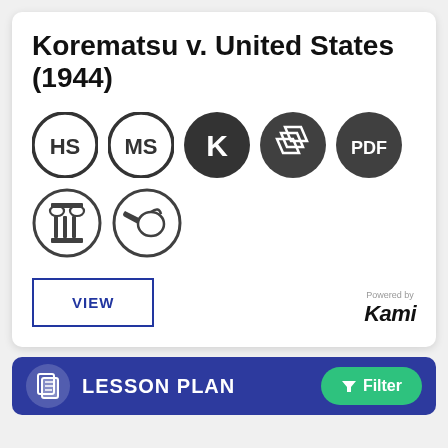Korematsu v. United States (1944)
[Figure (infographic): Row of five dark circular icons: HS, MS, K (Kami), parallelogram/document icon, PDF. Below: two outline circular icons showing a column capital and a hand gesture.]
[Figure (infographic): VIEW button (blue outline) and Kami 'Powered by Kami' badge in bottom right of card.]
[Figure (infographic): Dark blue LESSON PLAN bar with lesson icon and green Filter button.]